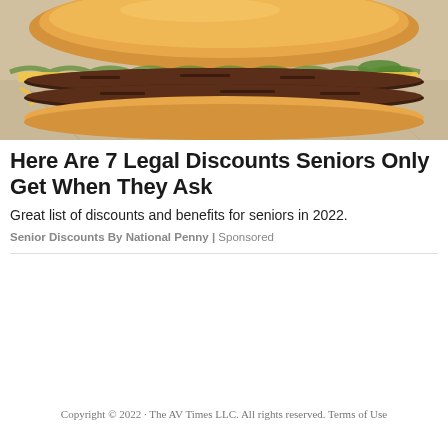[Figure (photo): Close-up photo of a double cheeseburger with two beef patties, cheese, and pickles on a sesame-style bun, placed on crinkled food wrapper paper]
Here Are 7 Legal Discounts Seniors Only Get When They Ask
Great list of discounts and benefits for seniors in 2022.
Senior Discounts By National Penny | Sponsored
Copyright © 2022 · The AV Times LLC. All rights reserved. Terms of Use